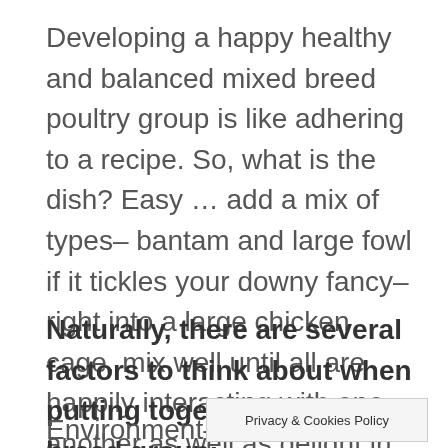Developing a happy healthy and balanced mixed breed poultry group is like adhering to a recipe. So, what is the dish? Easy … add a mix of types– bantam and large fowl if it tickles your downy fancy– right into a large chicken cage, mix well until all are happily interacting with one another as well as delight in.
Naturally, there are several factors to think about when putting together your mixed breed group:
Environment– so [Privacy & Cookies Policy] extreme